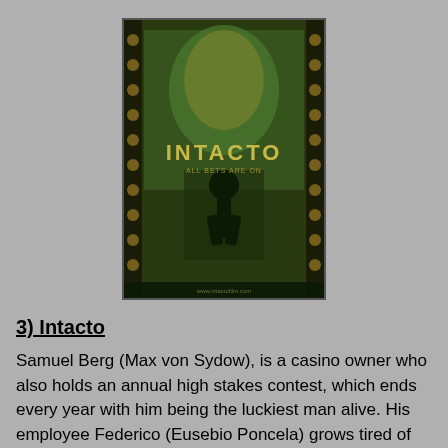[Figure (photo): Movie poster for 'Intacto' featuring a close-up face overlaid with a running figure, surrounded by various luck symbols on a dark green/gold background, with the title 'INTACTO' prominently displayed.]
3) Intacto
Samuel Berg (Max von Sydow), is a casino owner who also holds an annual high stakes contest, which ends every year with him being the luckiest man alive. His employee Federico (Eusebio Poncela) grows tired of living in Berg's shadow and decides to go out on his own. Before he leaves, Samuel touches a horrified Federico, removing his luck. This sends Federico in search of the luckiest people alive, singling out Tomás (Leonardo Sbaraglia) the lone survivor of a plane crash. Federico takes Tomás on a tour of